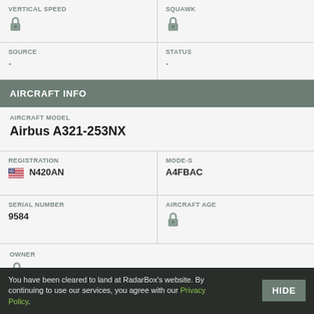| VERTICAL SPEED | SQUAWK |
| --- | --- |
| 🔒 | 🔒 |
| SOURCE | STATUS |
| --- | --- |
| - | - |
AIRCRAFT INFO
| AIRCRAFT MODEL |
| --- |
| Airbus A321-253NX |
| REGISTRATION | MODE-S |
| --- | --- |
| 🇺🇸 N420AN | A4FBAC |
| SERIAL NUMBER | AIRCRAFT AGE |
| --- | --- |
| 9584 | 🔒 |
| OWNER |
| --- |
| 🔒 |
You have been cleared to land at RadarBox's website. By continuing to use our services, you agree with our Privacy Policy.